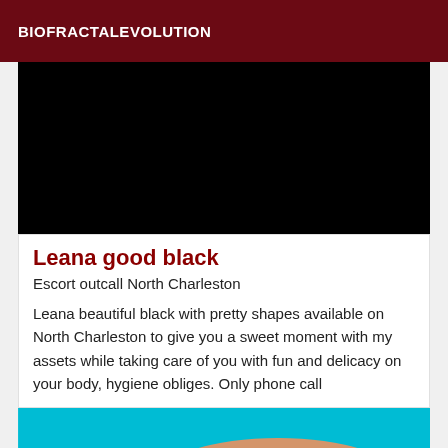BIOFRACTALEVOLUTION
[Figure (photo): Black/dark image placeholder at top of card]
Leana good black
Escort outcall North Charleston
Leana beautiful black with pretty shapes available on North Charleston to give you a sweet moment with my assets while taking care of you with fun and delicacy on your body, hygiene obliges. Only phone call
[Figure (photo): Photo showing a person's hand/wrist with a smartwatch, against a teal and tan background]